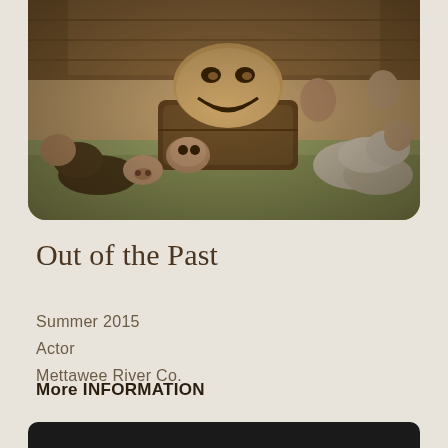[Figure (photo): Sepia-toned vintage photograph showing theatrical performers in costume lying on grass with large prop masks/puppet heads including a giant grinning face, pig heads, and other character masks. Performers are in elaborate costumes.]
Out of the Past
Summer 2015
Actor
Mettawee River Co.
More INFORMATION